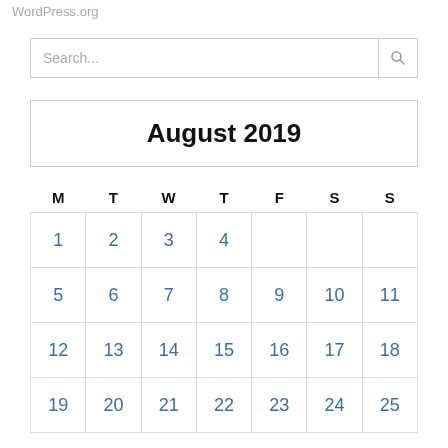WordPress.org
Search...
August 2019
| M | T | W | T | F | S | S |
| --- | --- | --- | --- | --- | --- | --- |
| 1 | 2 | 3 | 4 |  |  |  |
| 5 | 6 | 7 | 8 | 9 | 10 | 11 |
| 12 | 13 | 14 | 15 | 16 | 17 | 18 |
| 19 | 20 | 21 | 22 | 23 | 24 | 25 |